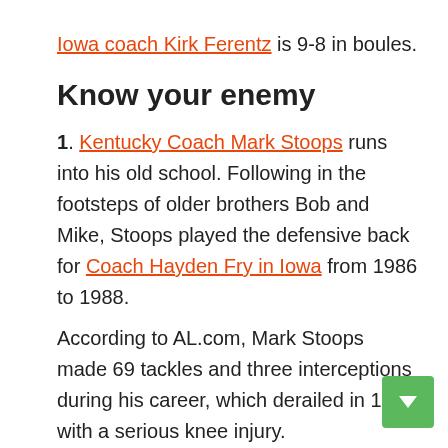Iowa coach Kirk Ferentz is 9-8 in boules.
Know your enemy
1. Kentucky Coach Mark Stoops runs into his old school. Following in the footsteps of older brothers Bob and Mike, Stoops played the defensive back for Coach Hayden Fry in Iowa from 1986 to 1988.
According to AL.com, Mark Stoops made 69 tackles and three interceptions during his career, which derailed in 1988 with a serious knee injury.
From 1989 to 1991, Stoops was a graduate assistant coach...